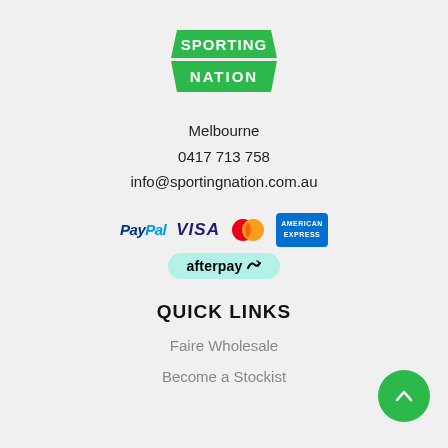[Figure (logo): Sporting Nation logo — green trapezoid-style badge with white bold text 'SPORTING NATION']
Melbourne
0417 713 758
info@sportingnation.com.au
[Figure (infographic): Payment method icons: PayPal, VISA, Mastercard (red/orange circles), American Express (blue rectangle), Afterpay (teal pill)]
QUICK LINKS
Faire Wholesale
Become a Stockist